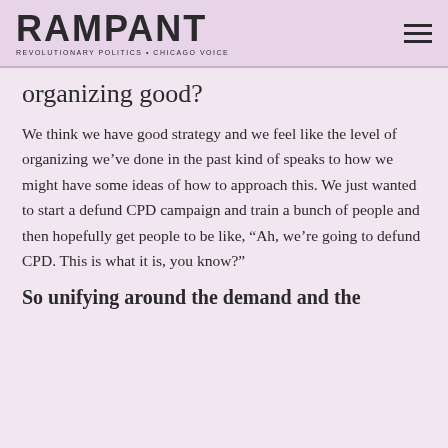RAMPANT
organizing good?
We think we have good strategy and we feel like the level of organizing we've done in the past kind of speaks to how we might have some ideas of how to approach this. We just wanted to start a defund CPD campaign and train a bunch of people and then hopefully get people to be like, “Ah, we’re going to defund CPD. This is what it is, you know?”
So unifying around the demand and the